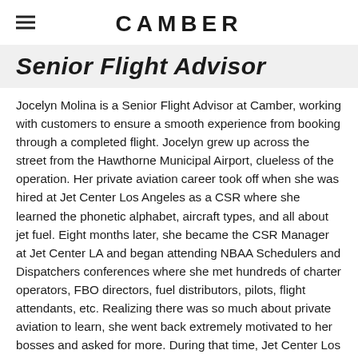CAMBER
Senior Flight Advisor
Jocelyn Molina is a Senior Flight Advisor at Camber, working with customers to ensure a smooth experience from booking through a completed flight. Jocelyn grew up across the street from the Hawthorne Municipal Airport, clueless of the operation. Her private aviation career took off when she was hired at Jet Center Los Angeles as a CSR where she learned the phonetic alphabet, aircraft types, and all about jet fuel. Eight months later, she became the CSR Manager at Jet Center LA and began attending NBAA Schedulers and Dispatchers conferences where she met hundreds of charter operators, FBO directors, fuel distributors, pilots, flight attendants, etc. Realizing there was so much about private aviation to learn, she went back extremely motivated to her bosses and asked for more. During that time, Jet Center Los Angeles had started up their own charter company, Advanced Air Charters, so once they purchased their first set of King Air 350s, she moved on up to Flight Scheduling to learn all about the Part 91 and 135 operation. A year into flight scheduling, the fleet grew and her responsibilities grew with it, so she became the Flight Scheduling Manager, and was in that position